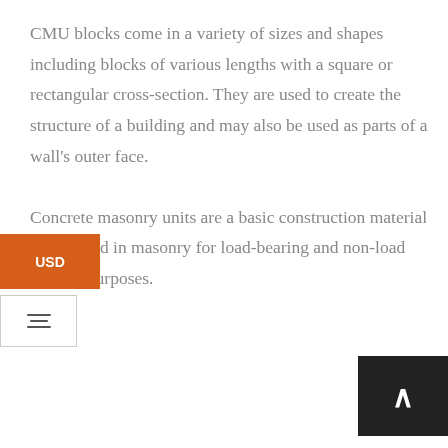CMU blocks come in a variety of sizes and shapes including blocks of various lengths with a square or rectangular cross-section. They are used to create the structure of a building and may also be used as parts of a wall's outer face.

Concrete masonry units are a basic construction material that is used in masonry for load-bearing and non-load bearing purposes.

It is...